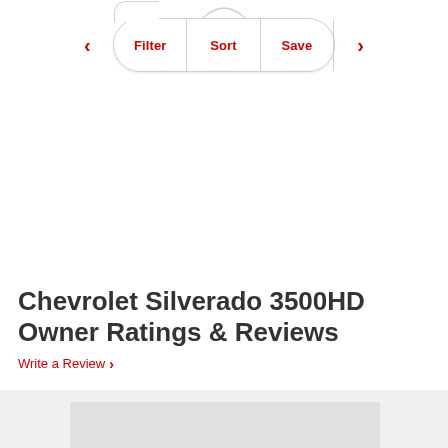[Figure (screenshot): Filter, Sort, Save navigation tab bar with left and right arrows, rounded pill shape, red text labels]
Chevrolet Silverado 3500HD Owner Ratings & Reviews
Write a Review >